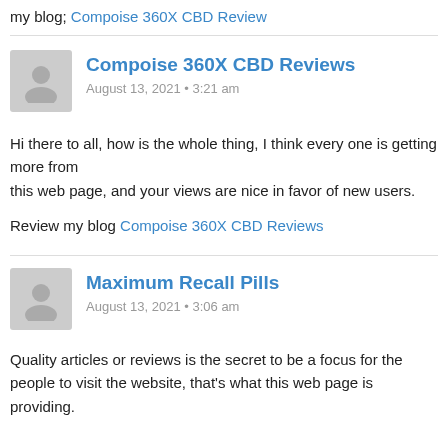my blog; Compoise 360X CBD Review
Compoise 360X CBD Reviews
August 13, 2021 • 3:21 am
Hi there to all, how is the whole thing, I think every one is getting more from this web page, and your views are nice in favor of new users.

Review my blog Compoise 360X CBD Reviews
Maximum Recall Pills
August 13, 2021 • 3:06 am
Quality articles or reviews is the secret to be a focus for the people to visit the website, that's what this web page is providing.